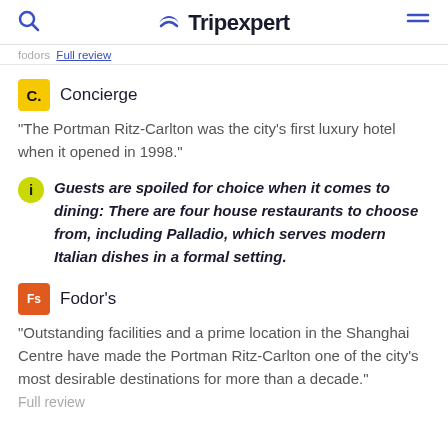Tripexpert
fodors Full review
Concierge
"The Portman Ritz-Carlton was the city's first luxury hotel when it opened in 1998."
Guests are spoiled for choice when it comes to dining: There are four house restaurants to choose from, including Palladio, which serves modern Italian dishes in a formal setting.
Fodor's
"Outstanding facilities and a prime location in the Shanghai Centre have made the Portman Ritz-Carlton one of the city's most desirable destinations for more than a decade." Full review